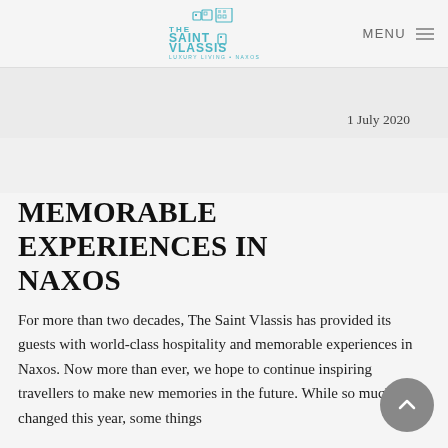THE SAINT VLASSIS LUXURY LIVING • NAXOS | MENU
1 July 2020
Memorable experiences in Naxos
For more than two decades, The Saint Vlassis has provided its guests with world-class hospitality and memorable experiences in Naxos. Now more than ever, we hope to continue inspiring travellers to make new memories in the future. While so much has changed this year, some things…